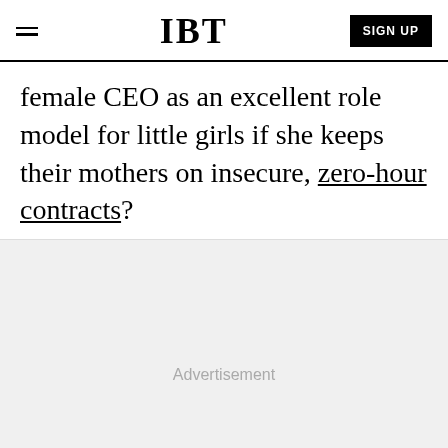IBT | SIGN UP
female CEO as an excellent role model for little girls if she keeps their mothers on insecure, zero-hour contracts?
Advertisement